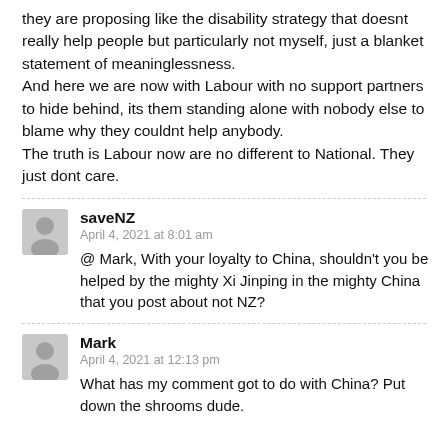they are proposing like the disability strategy that doesnt really help people but particularly not myself, just a blanket statement of meaninglessness. And here we are now with Labour with no support partners to hide behind, its them standing alone with nobody else to blame why they couldnt help anybody. The truth is Labour now are no different to National. They just dont care.
saveNZ
April 4, 2021 at 8:01 am
@ Mark, With your loyalty to China, shouldn't you be helped by the mighty Xi Jinping in the mighty China that you post about not NZ?
Mark
April 4, 2021 at 12:13 pm
What has my comment got to do with China? Put down the shrooms dude.